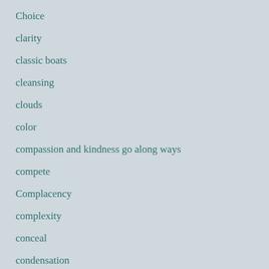Choice
clarity
classic boats
cleansing
clouds
color
compassion and kindness go along ways
compete
Complacency
complexity
conceal
condensation